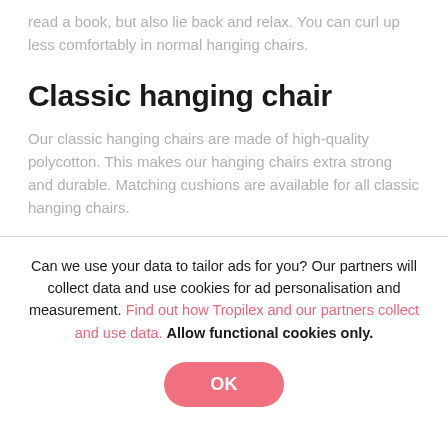read a book, but also lie back and relax. You can curl up less comfortably in normal hanging chairs.
Classic hanging chair
Our classic hanging chairs are made of high-quality polycotton. This makes our hanging chairs extra strong and durable. Matching cushions are available for all classic hanging chairs.
Can we use your data to tailor ads for you? Our partners will collect data and use cookies for ad personalisation and measurement. Find out how Tropilex and our partners collect and use data. Allow functional cookies only.
OK